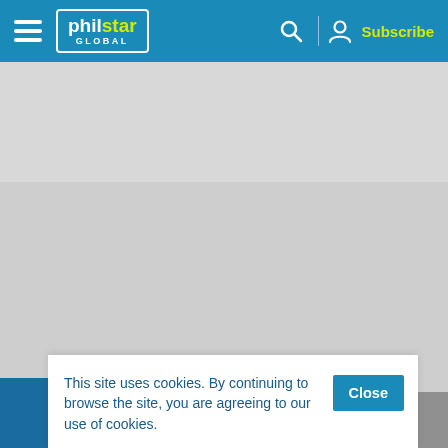philstar GLOBAL — Subscribe
[Figure (screenshot): Gray placeholder area for advertisement banner]
[Figure (screenshot): Large gray placeholder area for main content]
This site uses cookies. By continuing to browse the site, you are agreeing to our use of cookies.